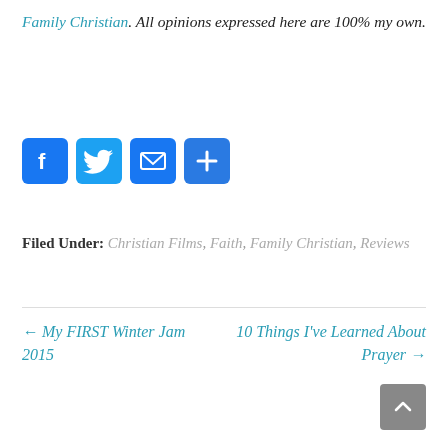Family Christian. All opinions expressed here are 100% my own.
[Figure (other): Social share buttons: Facebook, Twitter, Email, and More (plus sign)]
Filed Under: Christian Films, Faith, Family Christian, Reviews
← My FIRST Winter Jam 2015
10 Things I've Learned About Prayer →
[Figure (other): Scroll to top button (up arrow on grey background)]